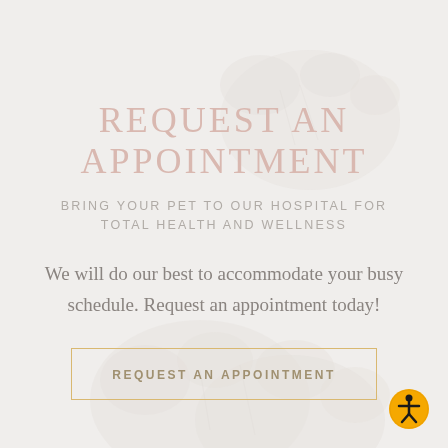[Figure (illustration): Background photo of white fluffy cat paws on a light cream/white surface, soft and blurred.]
REQUEST AN APPOINTMENT
BRING YOUR PET TO OUR HOSPITAL FOR TOTAL HEALTH AND WELLNESS
We will do our best to accommodate your busy schedule. Request an appointment today!
REQUEST AN APPOINTMENT
[Figure (logo): Accessibility icon: circular yellow/orange badge with a stylized human figure with arms outstretched.]